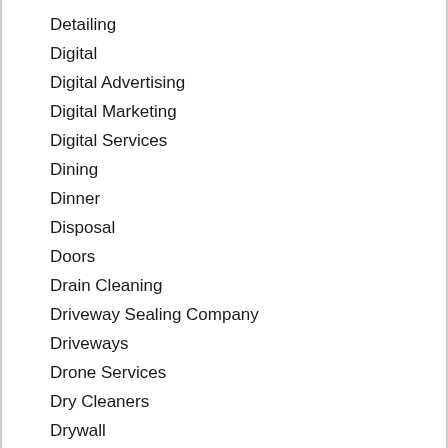Detailing
Digital
Digital Advertising
Digital Marketing
Digital Services
Dining
Dinner
Disposal
Doors
Drain Cleaning
Driveway Sealing Company
Driveways
Drone Services
Dry Cleaners
Drywall